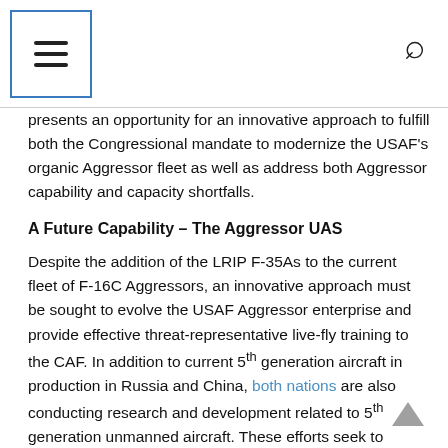Navigation menu header with hamburger icon and search icon
presents an opportunity for an innovative approach to fulfill both the Congressional mandate to modernize the USAF's organic Aggressor fleet as well as address both Aggressor capability and capacity shortfalls.
A Future Capability – The Aggressor UAS
Despite the addition of the LRIP F-35As to the current fleet of F-16C Aggressors, an innovative approach must be sought to evolve the USAF Aggressor enterprise and provide effective threat-representative live-fly training to the CAF. In addition to current 5th generation aircraft in production in Russia and China, both nations are also conducting research and development related to 5th generation unmanned aircraft. These efforts seek to challenge the competitive advantage the joint force currently holds over its adversaries and will eventually